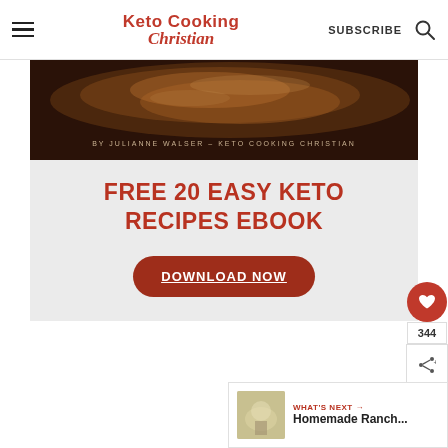Keto Cooking Christian — SUBSCRIBE
[Figure (photo): Dark food photo (steak/meat) with text overlay: BY JULIANNE WALSER - KETO COOKING CHRISTIAN]
FREE 20 EASY KETO RECIPES EBOOK
DOWNLOAD NOW
344
WHAT'S NEXT → Homemade Ranch...